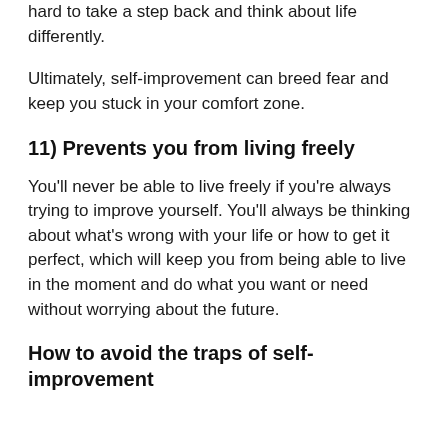hard to take a step back and think about life differently.
Ultimately, self-improvement can breed fear and keep you stuck in your comfort zone.
11) Prevents you from living freely
You'll never be able to live freely if you're always trying to improve yourself. You'll always be thinking about what's wrong with your life or how to get it perfect, which will keep you from being able to live in the moment and do what you want or need without worrying about the future.
How to avoid the traps of self-improvement